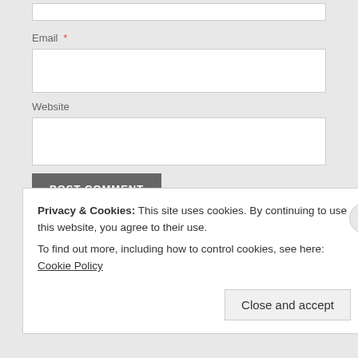Email *
Website
POST COMMENT
Notify me of new comments via email.
Notify me of new posts via email.
← Previous Post
Privacy & Cookies: This site uses cookies. By continuing to use this website, you agree to their use.
To find out more, including how to control cookies, see here: Cookie Policy
Close and accept